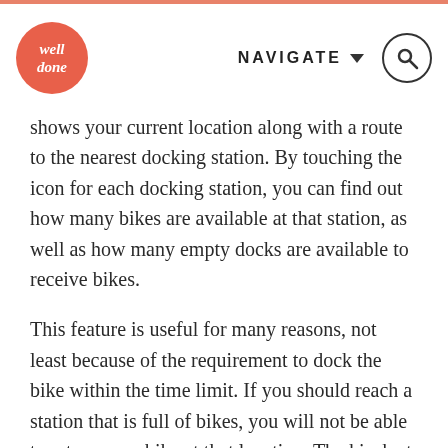well done | NAVIGATE
shows your current location along with a route to the nearest docking station. By touching the icon for each docking station, you can find out how many bikes are available at that station, as well as how many empty docks are available to receive bikes.
This feature is useful for many reasons, not least because of the requirement to dock the bike within the time limit. If you should reach a station that is full of bikes, you will not be able to return your bike at that location. The kiosk at a full dock can give you an additional fifteen minutes at no extra charge, and the phone app would probably come in handy at this point, in order to find the nearest station with empty docks.